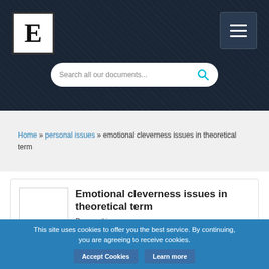[Figure (logo): Letter E logo in black serif font on white square box]
[Figure (other): Hamburger menu icon with three horizontal lines on dark blue button]
[Figure (other): Search bar with placeholder text and cyan search icon]
Home » personal issues » emotional cleverness issues in theoretical term
[Figure (other): Thumbnail image of a document page with lines of text]
Emotional cleverness issues in theoretical term
Personal issues,
Words: 2112
This site uses cookies to offer you the best service. By continuing, you are agreeing to receive cookies.